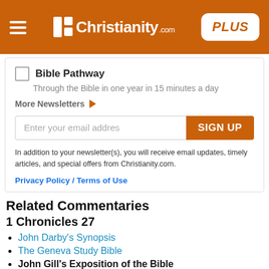Christianity.com PLUS
Bible Pathway — Through the Bible in one year in 15 minutes a day
More Newsletters ▶
Enter your email addres [SIGN UP button]
In addition to your newsletter(s), you will receive email updates, timely articles, and special offers from Christianity.com.
Privacy Policy / Terms of Use
Related Commentaries
1 Chronicles 27
John Darby's Synopsis
The Geneva Study Bible
John Gill's Exposition of the Bible
Jamieson, Faussett, and Brown
Matthew Henry Bible Commentary (complete)